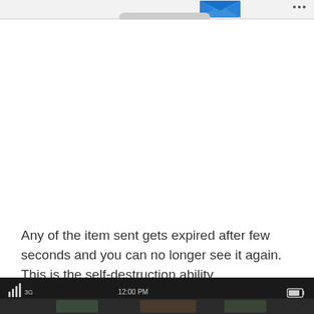[Figure (screenshot): Top of a mobile app screen showing a blue icon/logo at the top center and a partial view of a phone screen mockup below, on a light gray header bar]
Any of the item sent gets expired after few seconds and you can no longer see it again. This is the self-destruction ability.
[Figure (screenshot): Bottom strip showing a mobile device status bar with signal bars, 3G indicator, time 12:00 PM, and battery icon on a dark background with a partially visible app screen]